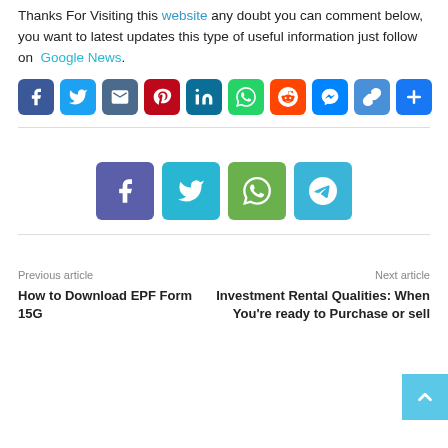Thanks For Visiting this website any doubt you can comment below, you want to latest updates this type of useful information just follow on Google News.
[Figure (infographic): Row of 10 social sharing icon buttons: Facebook, Twitter, Email, Pinterest, LinkedIn, WhatsApp, Reddit, Messenger, Copy-link, Share plus]
[Figure (infographic): Row of 4 social sharing icon buttons centered: Facebook, Twitter, WhatsApp, Telegram]
Previous article
How to Download EPF Form 15G
Next article
Investment Rental Qualities: When You're ready to Purchase or sell